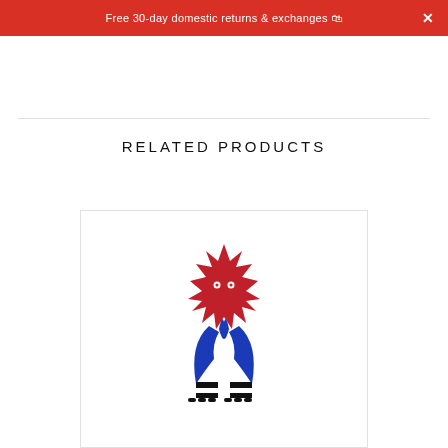Free 30-day domestic returns & exchanges 🛍 ×
RELATED PRODUCTS
[Figure (illustration): A folk-art style illustration of a creature with a spiky red sun-like head with eyes, blue flame or wing shapes in the middle, and black and white striped feet/legs at the bottom.]